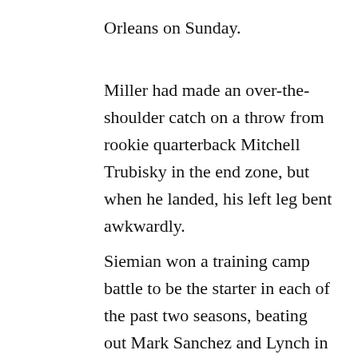Orleans on Sunday.
Miller had made an over-the-shoulder catch on a throw from rookie quarterback Mitchell Trubisky in the end zone, but when he landed, his left leg bent awkwardly.
Siemian won a training camp battle to be the starter in each of the past two seasons, beating out Mark Sanchez and Lynch in 2016 and then beating out Lynch again this past summer. Joseph has consistently expressed a comfort level with Siemian as the Broncos moved through the first